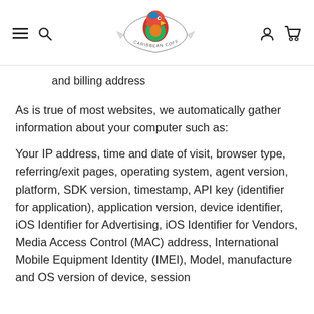Caribbean Coffee Co. navigation header with hamburger menu, search, logo, user account, and cart icons
and billing address
As is true of most websites, we automatically gather information about your computer such as:
Your IP address, time and date of visit, browser type, referring/exit pages, operating system, agent version, platform, SDK version, timestamp, API key (identifier for application), application version, device identifier, iOS Identifier for Advertising, iOS Identifier for Vendors, Media Access Control (MAC) address, International Mobile Equipment Identity (IMEI), Model, manufacture and OS version of device, session